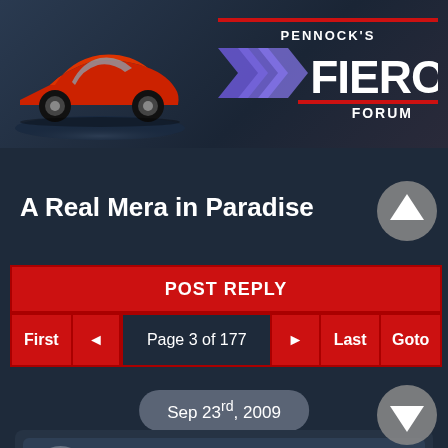[Figure (illustration): Pennock's Fiero Forum header banner with red Pontiac Fiero car illustration on left and logo with purple chevron and FIERO text on right]
A Real Mera in Paradise
POST REPLY
First ◄ Page 3 of 177 ► Last Goto
Sep 23rd, 2009
batousai666
4212 posts
Member since Jun 2009
thats one of the early fiberglass 308's huh? thus the high price. thats whats cool about the Mera, all glass. sometimes tho it would be cool to knock on metal, sometimes feeling of solidity. does any body know the